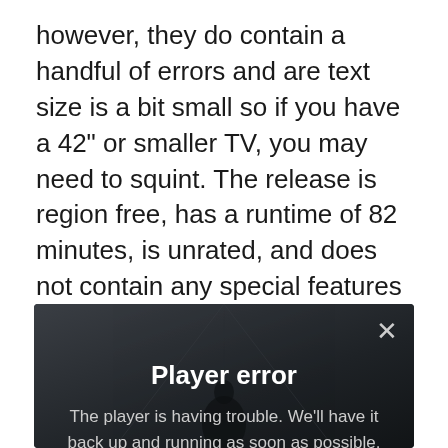however, they do contain a handful of errors and are text size is a bit small so if you have a 42" or smaller TV, you may need to squint. The release is region free, has a runtime of 82 minutes, is unrated, and does not contain any special features or bonus scenes during or after credits. “The Curse of Dracula” is a slaughter-horse of a different color with a fascinating villain and a blindsiding coven of flesh-craving basement dwellers that pivot the narrative in a wild direction but the story lacks comprehension that results dissatisfaction.
[Figure (screenshot): Video player error overlay on a dark background showing a silhouetted figure. A close (X) button is in the top right. Bold white text reads 'Player error'. Below in gray text: 'The player is having trouble. We’ll have it back up and running as soon as possible.']